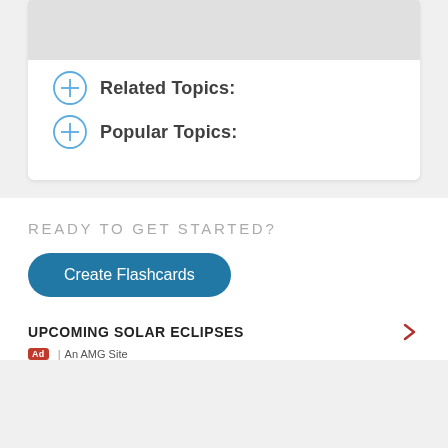[Figure (other): Gray image placeholder area at top of card]
Related Topics:
Popular Topics:
READY TO GET STARTED?
Create Flashcards
UPCOMING SOLAR ECLIPSES
Ad | An AMG Site